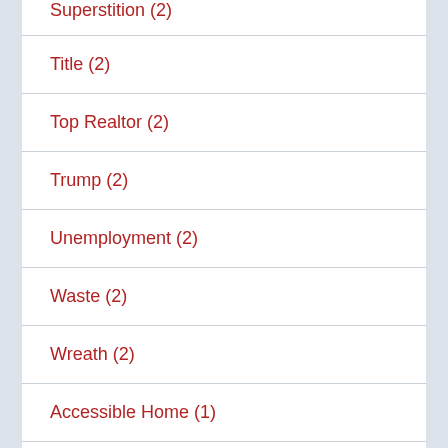Superstition (2)
Title (2)
Top Realtor (2)
Trump (2)
Unemployment (2)
Waste (2)
Wreath (2)
Accessible Home (1)
Alarm (1)